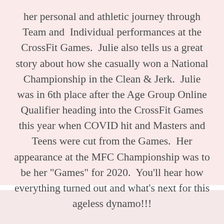her personal and athletic journey through Team and Individual performances at the CrossFit Games. Julie also tells us a great story about how she casually won a National Championship in the Clean & Jerk. Julie was in 6th place after the Age Group Online Qualifier heading into the CrossFit Games this year when COVID hit and Masters and Teens were cut from the Games. Her appearance at the MFC Championship was to be her "Games" for 2020. You'll hear how everything turned out and what's next for this ageless dynamo!!!